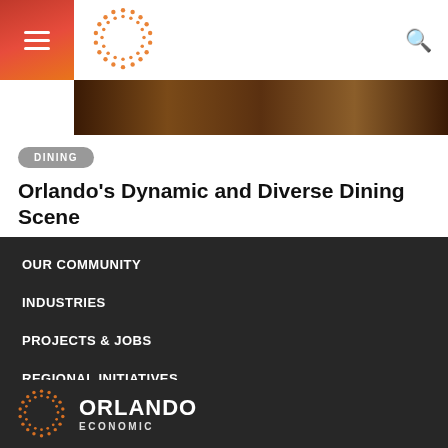Orlando Economic Partnership website header with navigation menu and logo
[Figure (screenshot): Partial photo of dining scene, dark brownish tones, cropped]
DINING
Orlando's Dynamic and Diverse Dining Scene
by Orlando Economic Partnership MARCH 16, 2017
OUR COMMUNITY
INDUSTRIES
PROJECTS & JOBS
REGIONAL INITIATIVES
CONTACT
[Figure (logo): Orlando Economic Partnership logo — dotted circle icon with ORLANDO ECONOMIC text in white on dark background]